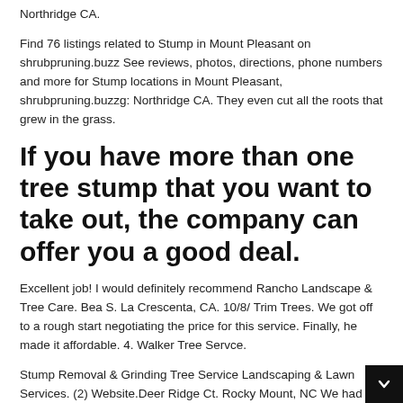Northridge CA.
Find 76 listings related to Stump in Mount Pleasant on shrubpruning.buzz See reviews, photos, directions, phone numbers and more for Stump locations in Mount Pleasant, shrubpruning.buzzg: Northridge CA. They even cut all the roots that grew in the grass.
If you have more than one tree stump that you want to take out, the company can offer you a good deal.
Excellent job! I would definitely recommend Rancho Landscape & Tree Care. Bea S. La Crescenta, CA. 10/8/ Trim Trees. We got off to a rough start negotiating the price for this service. Finally, he made it affordable. 4. Walker Tree Servce.
Stump Removal & Grinding Tree Service Landscaping & Lawn Services. (2) Website.Deer Ridge Ct. Rocky Mount, NC We had a huge oak tree that was dead and needed to come